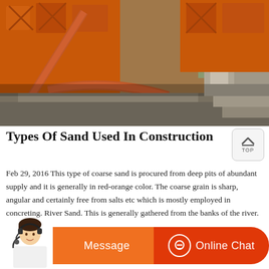[Figure (photo): Large orange industrial sand washing/screening machinery on a construction site with concrete structures and trees in the background]
Types Of Sand Used In Construction
Feb 29, 2016 This type of coarse sand is procured from deep pits of abundant supply and it is generally in red-orange color. The coarse grain is sharp, angular and certainly free from salts etc which is mostly employed in concreting. River Sand. This is generally gathered from the banks of the river. It has a fine quality, unlike pit sand.
[Figure (illustration): Customer service chat bar with avatar, Message button and Online Chat button]